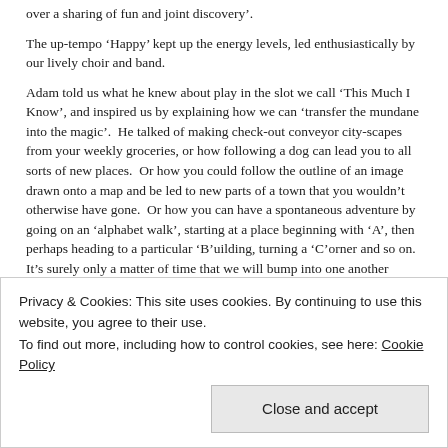over a sharing of fun and joint discovery'.
The up-tempo ‘Happy’ kept up the energy levels, led enthusiastically by our lively choir and band.
Adam told us what he knew about play in the slot we call ‘This Much I Know’, and inspired us by explaining how we can ‘transfer the mundane into the magic’. He talked of making check-out conveyor city-scapes from your weekly groceries, or how following a dog can lead you to all sorts of new places. Or how you could follow the outline of an image drawn onto a map and be led to new parts of a town that you wouldn’t otherwise have gone. Or how you can have a spontaneous adventure by going on an ‘alphabet walk’, starting at a place beginning with ‘A’, then perhaps heading to a particular ‘B’uilding, turning a ‘C’orner and so on. It’s surely only a matter of time that we will bump into one another lurking around the ‘x’-ray department, or meet each other at the ‘Z’oo where all our walks are sure to terminate! You can download a free copy of
Privacy & Cookies: This site uses cookies. By continuing to use this website, you agree to their use.
To find out more, including how to control cookies, see here: Cookie Policy